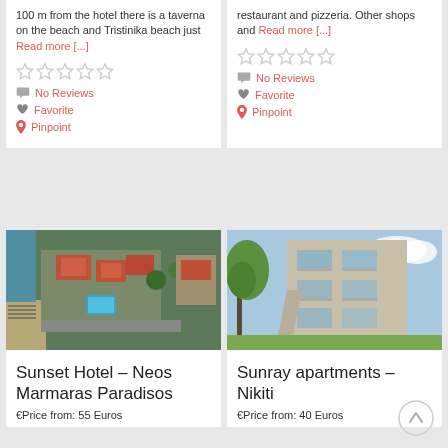100 m from the hotel there is a taverna on the beach and Tristinika beach just Read more [...]
No Reviews
Favorite
Pinpoint
restaurant and pizzeria. Other shops and Read more [...]
No Reviews
Favorite
Pinpoint
[Figure (photo): Aerial view of Sunset Hotel Neos Marmaras Paradisos showing beach, pool, buildings with red roofs]
Sunset Hotel – Neos Marmaras Paradisos
€Price from: 55 Euros
[Figure (photo): Exterior photo of Sunray apartments in Nikiti showing modern building with balconies and green tree]
Sunray apartments – Nikiti
€Price from: 40 Euros